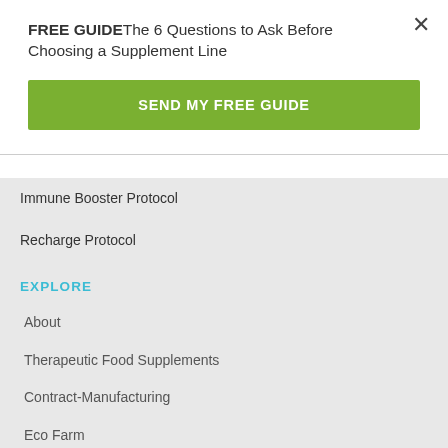FREE GUIDE The 6 Questions to Ask Before Choosing a Supplement Line
SEND MY FREE GUIDE
Immune Booster Protocol
Recharge Protocol
EXPLORE
About
Therapeutic Food Supplements
Contract-Manufacturing
Eco Farm
Seann & Dobrea